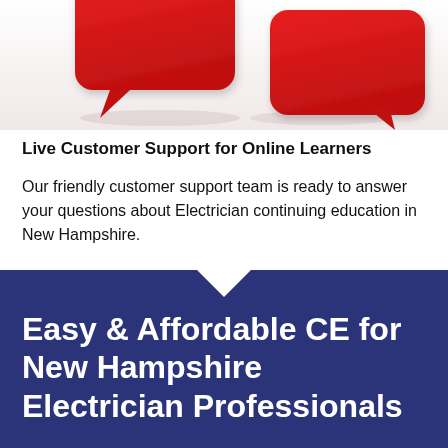[Figure (illustration): Two red 3D speech bubble icons side by side on a white/light pink background, partially cropped at top]
Live Customer Support for Online Learners
Our friendly customer support team is ready to answer your questions about Electrician continuing education in New Hampshire.
Easy & Affordable CE for New Hampshire Electrician Professionals